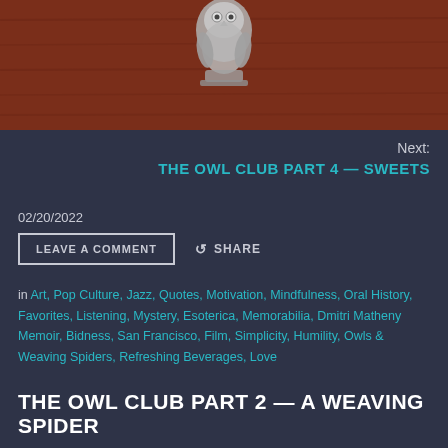[Figure (photo): Decorative silver owl figurine on a dark reddish-brown wooden background, partially visible at top of page.]
Next:
THE OWL CLUB PART 4 — SWEETS
02/20/2022
LEAVE A COMMENT    SHARE
in Art, Pop Culture, Jazz, Quotes, Motivation, Mindfulness, Oral History, Favorites, Listening, Mystery, Esoterica, Memorabilia, Dmitri Matheny Memoir, Bidness, San Francisco, Film, Simplicity, Humility, Owls & Weaving Spiders, Refreshing Beverages, Love
THE OWL CLUB PART 2 — A WEAVING SPIDER